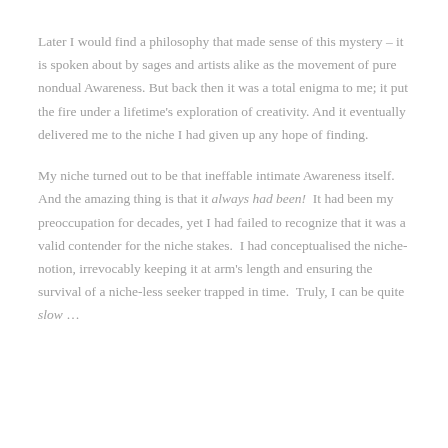Later I would find a philosophy that made sense of this mystery – it is spoken about by sages and artists alike as the movement of pure nondual Awareness. But back then it was a total enigma to me; it put the fire under a lifetime's exploration of creativity. And it eventually delivered me to the niche I had given up any hope of finding.
My niche turned out to be that ineffable intimate Awareness itself.  And the amazing thing is that it always had been!  It had been my preoccupation for decades, yet I had failed to recognize that it was a valid contender for the niche stakes.  I had conceptualised the niche-notion, irrevocably keeping it at arm's length and ensuring the survival of a niche-less seeker trapped in time.  Truly, I can be quite slow …